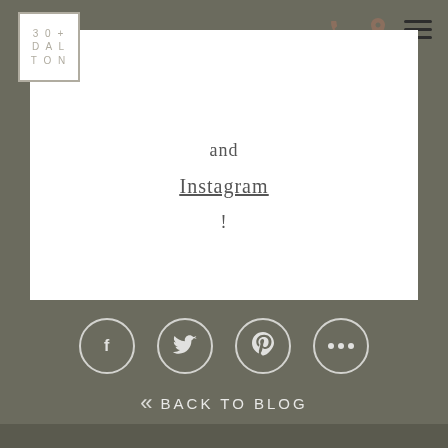[Figure (logo): 30 Dalton logo in outlined box with text: 30+ / DAL / TON]
[Figure (infographic): Phone icon, location pin icon, and hamburger menu icon in header]
and
Instagram
!
[Figure (infographic): Social media icon circles: Facebook, Twitter, Pinterest, More (ellipsis)]
<< BACK TO BLOG
[Figure (photo): Partial bottom image strip]